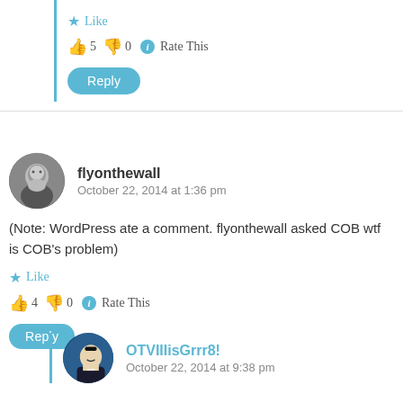Like
👍 5 👎 0 ℹ Rate This
Reply
flyonthewall
October 22, 2014 at 1:36 pm
(Note: WordPress ate a comment. flyonthewall asked COB wtf is COB's problem)
Like
👍 4 👎 0 ℹ Rate This
Reply
OTVIIIisGrrr8!
October 22, 2014 at 9:38 pm